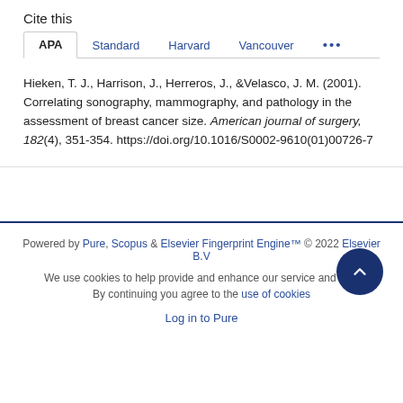Cite this
APA | Standard | Harvard | Vancouver | ...
Hieken, T. J., Harrison, J., Herreros, J., & Velasco, J. M. (2001). Correlating sonography, mammography, and pathology in the assessment of breast cancer size. American journal of surgery, 182(4), 351-354. https://doi.org/10.1016/S0002-9610(01)00726-7
Powered by Pure, Scopus & Elsevier Fingerprint Engine™ © 2022 Elsevier B.V
We use cookies to help provide and enhance our service and tailor content. By continuing you agree to the use of cookies
Log in to Pure